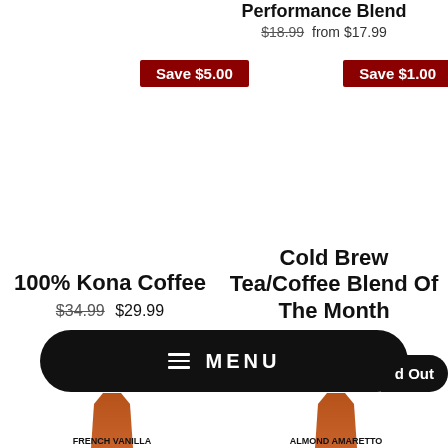Performance Blend
$18.99  from $17.99
Save $5.00
Save $1.00
100% Kona Coffee
$34.99  $29.99
Cold Brew Tea/Coffee Blend Of The Month
MENU
Sold Out
FRENCH VANILLA
ALMOND AMARETTO